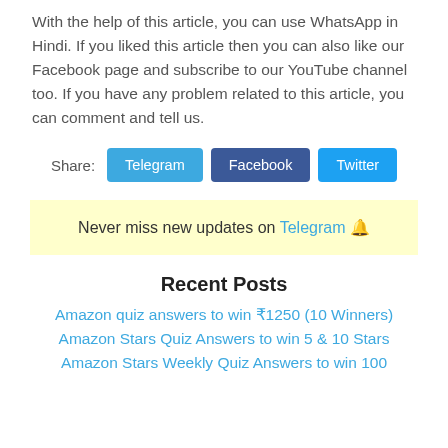With the help of this article, you can use WhatsApp in Hindi. If you liked this article then you can also like our Facebook page and subscribe to our YouTube channel too. If you have any problem related to this article, you can comment and tell us.
Share: Telegram Facebook Twitter
Never miss new updates on Telegram 🔔
Recent Posts
Amazon quiz answers to win ₹1250 (10 Winners)
Amazon Stars Quiz Answers to win 5 & 10 Stars
Amazon Stars Weekly Quiz Answers to win 100